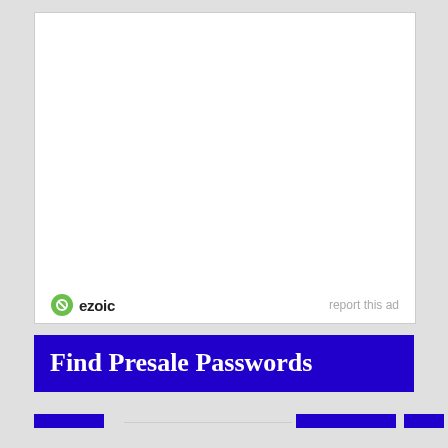[Figure (other): Ezoic advertisement placeholder - white rectangle with Ezoic branding logo and text at bottom left, and 'report this ad' link at bottom right]
Find Presale Passwords